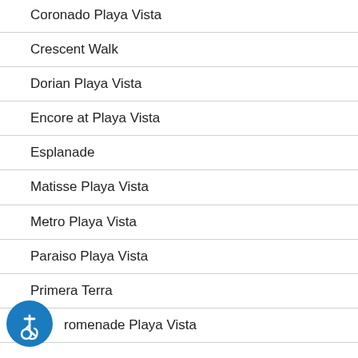Coronado Playa Vista
Crescent Walk
Dorian Playa Vista
Encore at Playa Vista
Esplanade
Matisse Playa Vista
Metro Playa Vista
Paraiso Playa Vista
Primera Terra
Promenade Playa Vista
[Figure (illustration): Blue circular accessibility/wheelchair icon in the bottom-left corner]